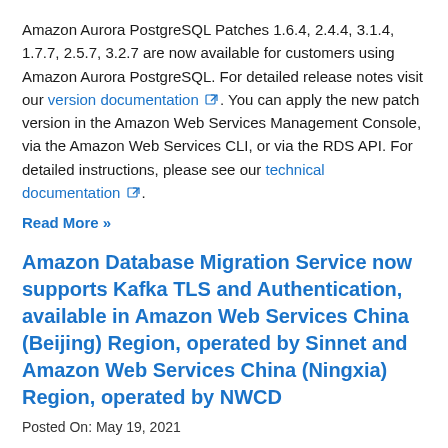Amazon Aurora PostgreSQL Patches 1.6.4, 2.4.4, 3.1.4, 1.7.7, 2.5.7, 3.2.7 are now available for customers using Amazon Aurora PostgreSQL. For detailed release notes visit our version documentation. You can apply the new patch version in the Amazon Web Services Management Console, via the Amazon Web Services CLI, or via the RDS API. For detailed instructions, please see our technical documentation.
Read More »
Amazon Database Migration Service now supports Kafka TLS and Authentication, available in Amazon Web Services China (Beijing) Region, operated by Sinnet and Amazon Web Services China (Ningxia) Region, operated by NWCD
Posted On: May 19, 2021
Amazon Database Migration Service (Amazon DMS) has expanded to bring enterprise-level scalability for customers who have adopted